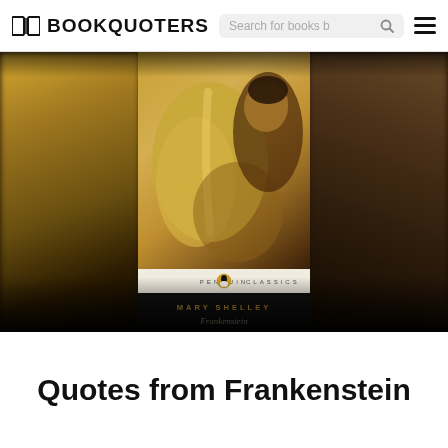BOOKQUOTERS
[Figure (photo): Penguin Classics edition of Frankenstein by Mary Shelley book cover, showing a classical painting of a muscular figure crouching, with blurred warm-toned background panels on either side]
Quotes from Frankenstein